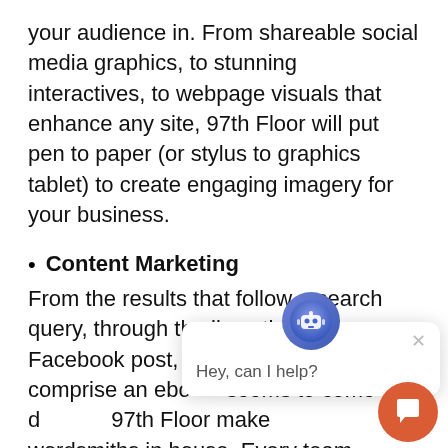your audience in. From shareable social media graphics, to stunning interactives, to webpage visuals that enhance any site, 97th Floor will put pen to paper (or stylus to graphics tablet) to create engaging imagery for your business.
Content Marketing
From the results that follow a search query, through the lines that make up a Facebook post, to the sentences that comprise an ebook, 97th Floor makes wordsmiths in house. Every team includes its own content marketer who is an expert copywriter, and fully versed in SEO best practices. And best of all, unlike agencies